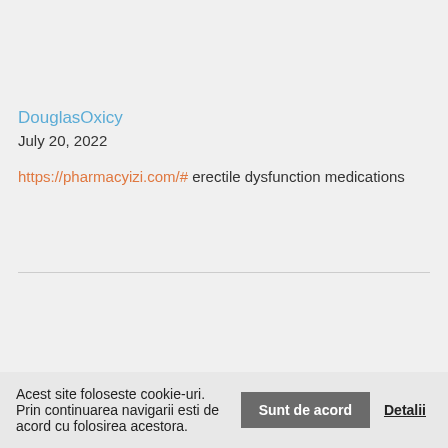DouglasOxicy
July 20, 2022
https://pharmacyizi.com/# erectile dysfunction medications
Acest site foloseste cookie-uri. Prin continuarea navigarii esti de acord cu folosirea acestora.